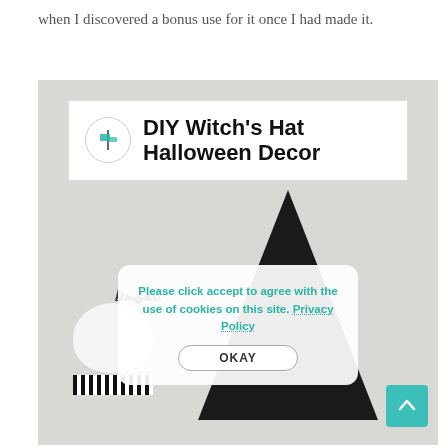when I discovered a bonus use for it once I had made it.
[Figure (photo): Photo of DIY witch's hat Halloween decor — a tall black triangular witch hat with a white pumpkin decorated with a black and white striped ribbon, set against a light gray background. A white banner overlay at the top reads 'DIY Witch's Hat Halloween Decor' with a small circular logo on the left. A cookie consent dialog appears at the bottom center reading 'Please click accept to agree with the use of cookies on this site. Privacy Policy' with an OKAY button. A teal scroll-to-top arrow button appears at bottom right.]